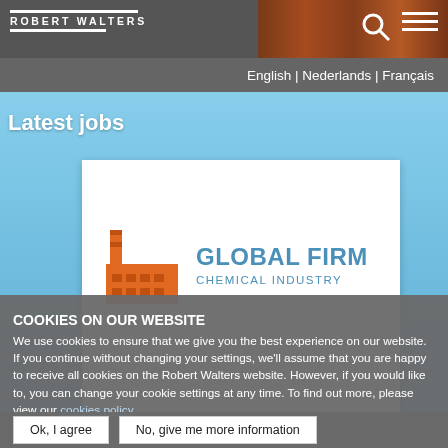ROBERT WALTERS
English | Nederlands | Français
Latest jobs
[Figure (logo): Global Firm Chemical Industry logo — orange factory/building icon on left, blue text 'GLOBAL FIRM' large, 'CHEMICAL INDUSTRY' smaller below]
Senior HRD…
COOKIES ON OUR WEBSITE
We use cookies to ensure that we give you the best experience on our website. If you continue without changing your settings, we'll assume that you are happy to receive all cookies on the Robert Walters website. However, if you would like to, you can change your cookie settings at any time. To find out more, please view our cookies policy.
Ok, I agree
No, give me more information